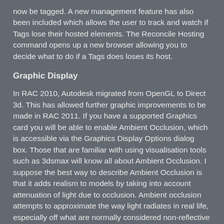now be tagged. A new management feature has also been included which allows the user to track and watch if Tags lose their hosted elements. The Reconcile Hosting command opens up a new browser allowing you to decide what to do if a Tags does loses its host.
Graphic Display
In RAC 2010, Autodesk migrated from OpenGL to Direct 3d. This has allowed further graphic improvements to be made in RAC 2011. If you have a supported Graphics card you will be able to enable Ambient Occlusion, which is accessible via the Graphics Display Options dialog box. Those that are familiar with using visualisation tools such as 3dsmax will know all about Ambient Occlusion. I suppose the best way to describe Ambient Occlusion is that it adds realism to models by taking into account attenuation of light due to occlusion. Ambient occlusion attempts to approximate the way light radiates in real life, especially off what are normally considered non-reflective surfaces. Look in a room at the corners between the wall and the ceiling; you will notice the soft shaded falloff of material colour which is not defined by the sun, this is Ambient occlusion.